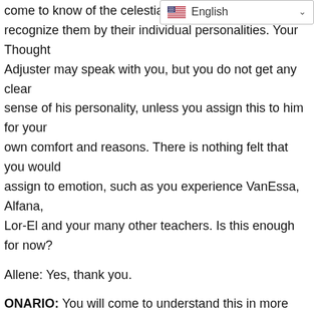[Figure (screenshot): Language selector dropdown showing English with US flag and chevron arrow]
come to know of the celestial realm you recognize them by their individual personalities. Your Thought Adjuster may speak with you, but you do not get any clear sense of his personality, unless you assign this to him for your own comfort and reasons. There is nothing felt that you would assign to emotion, such as you experience VanEssa, Alfana, Lor-El and your many other teachers. Is this enough for now?
Allene: Yes, thank you.
ONARIO: You will come to understand this in more depth later on. This is not easy to define for you now.
Allene: What about our ideas that animals have personality?
ONARIO: Here you are confusing the behavior you observe with